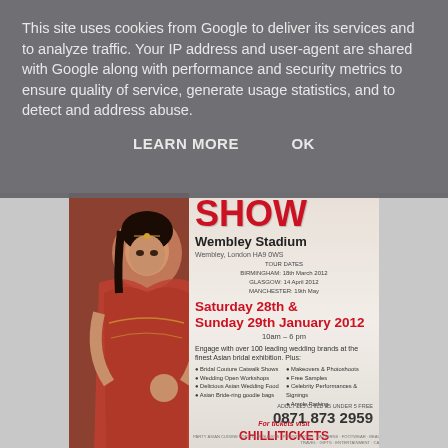This site uses cookies from Google to deliver its services and to analyze traffic. Your IP address and user-agent are shared with Google along with performance and security metrics to ensure quality of service, generate usage statistics, and to detect and address abuse.
LEARN MORE   OK
[Figure (photo): Event advertisement poster for a bridal show at Wembley Stadium. Shows an Indian bride in traditional red and gold attire with jewellery, posing. Text overlay includes: SHOW, Wembley Stadium, Wembley London HA9 0WS, tour dates (Birmingham 19th March 2012, Glasgow 14 April 2012, Manchester 19th May), Saturday 28th & Sunday 29th January 2012, 10am - 6pm, engagement text about 100 leading wedding brands, bullet points for Bridal Couture Catwalk Shows, Wedding Open Workshops, Delicious Asian Wedding Food, Asian Bride-ring goodie bags, Makeovers & Photoshoots, Free Samples, Celebrity Performances & Signings, Ample Parking. For tickets visit CHILLITICKETS www.chillitickets.com. ADULT £15 CHILD £5 UNDER 5 FREE. 0871 873 2959]